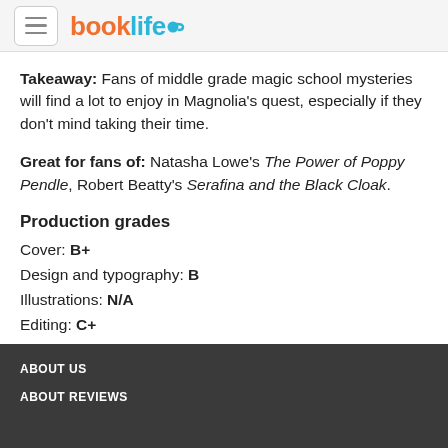booklife
Takeaway: Fans of middle grade magic school mysteries will find a lot to enjoy in Magnolia’s quest, especially if they don’t mind taking their time.
Great for fans of: Natasha Lowe’s The Power of Poppy Pendle, Robert Beatty’s Serafina and the Black Cloak.
Production grades
Cover: B+
Design and typography: B
Illustrations: N/A
Editing: C+
Marketing copy: B
ABOUT US
ABOUT REVIEWS